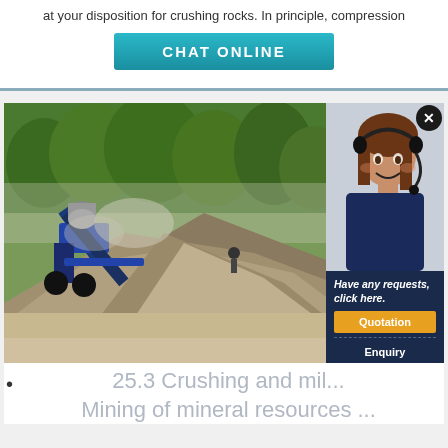at your disposition for crushing rocks. In principle, compression
CHAT ONLINE
[Figure (photo): Mining/crushing equipment at a quarry site with blue machinery and large piles of crushed rock/gravel, surrounded by green vegetation]
[Figure (photo): Female customer service representative with headset smiling, overlaid chat panel with text 'Have any requests, click here.' and buttons for Quotation and Enquiry, plus email limingjlmofen@sina.com]
Have any requests, click here.
Quotation
Enquiry
limingjlmofen@sina.com
25.3 Crushing and mil... Mining of mineral resources ...